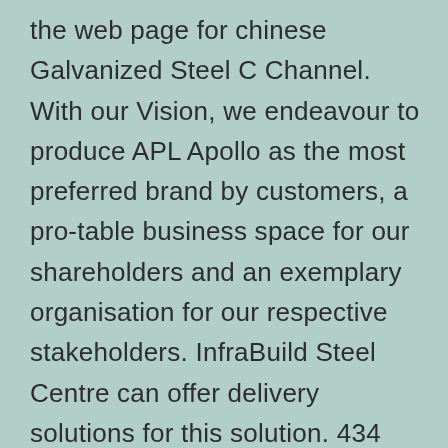the web page for chinese Galvanized Steel C Channel. With our Vision, we endeavour to produce APL Apollo as the most preferred brand by customers, a pro-table business space for our shareholders and an exemplary organisation for our respective stakeholders. InfraBuild Steel Centre can offer delivery solutions for this solution. 434 galvanized steel c channel items are provided for sale by suppliers on , of which steel channels accounts for 52%, metal developing components accounts for 8%, and steel sheets accounts for 1%. A wide selection of galvanized steel c